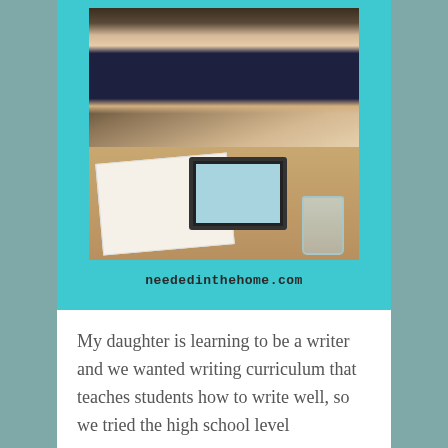[Figure (photo): A young girl writing on paper at a table, with a tablet device and a glass mug nearby. The image is displayed in a teal/cyan colored box with the website URL neededinthehome.com shown below the photo.]
My daughter is learning to be a writer and we wanted writing curriculum that teaches students how to write well, so we tried the high school level